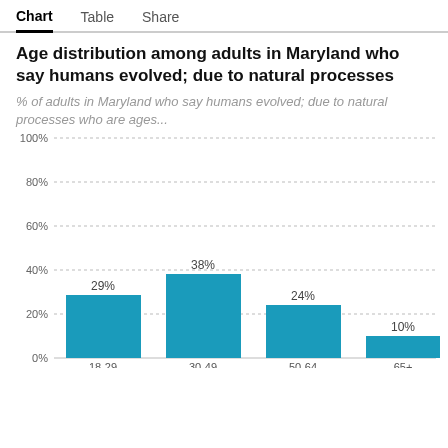Chart | Table | Share
Age distribution among adults in Maryland who say humans evolved; due to natural processes
% of adults in Maryland who say humans evolved; due to natural processes who are ages...
[Figure (bar-chart): Age distribution among adults in Maryland who say humans evolved; due to natural processes]